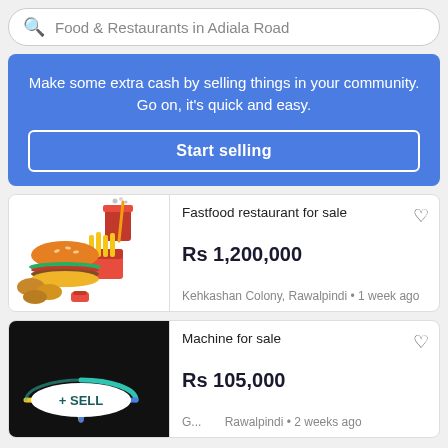Food & Restaurants in Adiala Road
Make some extra cash by selling things in your community. Go on, it's quick and easy.
Start selling
Fastfood restaurant for sale
Rs 1,200,000
Kehkashan Colony, Rawalpindi · 1 week ago
[Figure (illustration): Fast food illustration with burger, fries, drink, and nuggets]
Machine for sale
Rs 105,000
G... Rawalpindi · 2 weeks ago
[Figure (illustration): Dark/black image for machine listing]
+ SELL